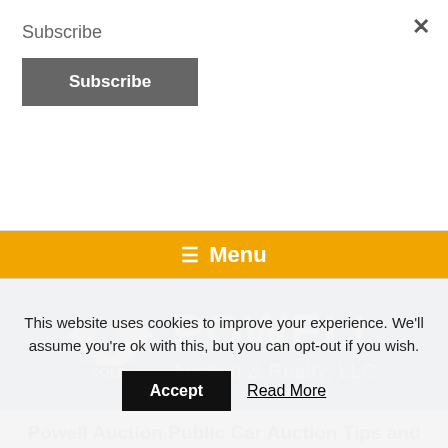Subscribe
Subscribe
×
[Figure (logo): Powell Auction & Realty, LLC logo with crossed gavels and SOLD banner on blue background]
Powell Auction Public Car Auction Tips and Tricks
This website uses cookies to improve your experience. We'll assume you're ok with this, but you can opt-out if you wish.
Accept
Read More